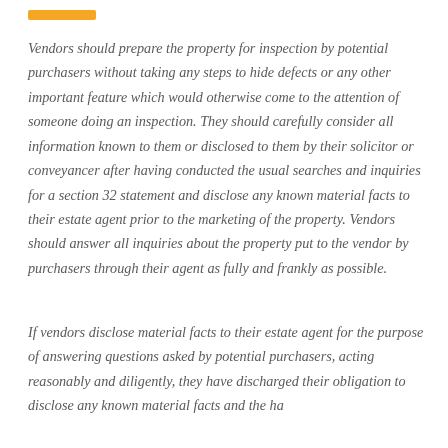[Figure (other): Orange/amber horizontal accent bar at top left of page]
Vendors should prepare the property for inspection by potential purchasers without taking any steps to hide defects or any other important feature which would otherwise come to the attention of someone doing an inspection. They should carefully consider all information known to them or disclosed to them by their solicitor or conveyancer after having conducted the usual searches and inquiries for a section 32 statement and disclose any known material facts to their estate agent prior to the marketing of the property. Vendors should answer all inquiries about the property put to the vendor by purchasers through their agent as fully and frankly as possible.
If vendors disclose material facts to their estate agent for the purpose of answering questions asked by potential purchasers, acting reasonably and diligently, they have discharged their obligation to disclose any known material facts and the has...